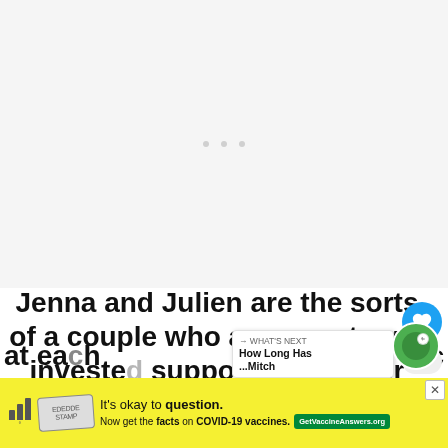[Figure (other): Light gray/white blank content area with three faint gray dots in the center, representing a loading or empty media placeholder]
Jenna and Julien are the sorts of a couple who are easy to get invested support each other when needed and laugh at each other... ic
[Figure (other): WHAT'S NEXT overlay card showing 'How Long Has ...Mitch' with a circular green thumbnail and a clock icon]
[Figure (other): Ad banner: 'It's okay to question. Now get the facts on COVID-19 vaccines.' with GetVaccineAnswers.org button, yellow background, CDC stamp logo]